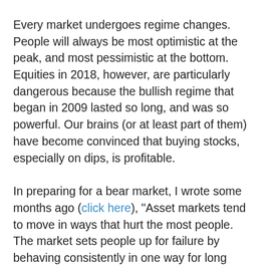Every market undergoes regime changes. People will always be most optimistic at the peak, and most pessimistic at the bottom. Equities in 2018, however, are particularly dangerous because the bullish regime that began in 2009 lasted so long, and was so powerful. Our brains (or at least part of them) have become convinced that buying stocks, especially on dips, is profitable.
In preparing for a bear market, I wrote some months ago (click here), "Asset markets tend to move in ways that hurt the most people. The market sets people up for failure by behaving consistently in one way for long periods of time, and then changing character